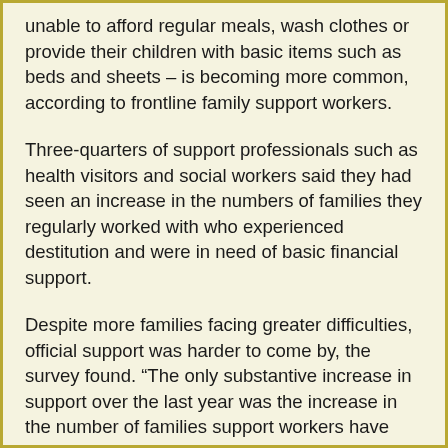unable to afford regular meals, wash clothes or provide their children with basic items such as beds and sheets – is becoming more common, according to frontline family support workers.
Three-quarters of support professionals such as health visitors and social workers said they had seen an increase in the numbers of families they regularly worked with who experienced destitution and were in need of basic financial support.
Despite more families facing greater difficulties, official support was harder to come by, the survey found. “The only substantive increase in support over the last year was the increase in the number of families support workers have seen using food banks,” it read.